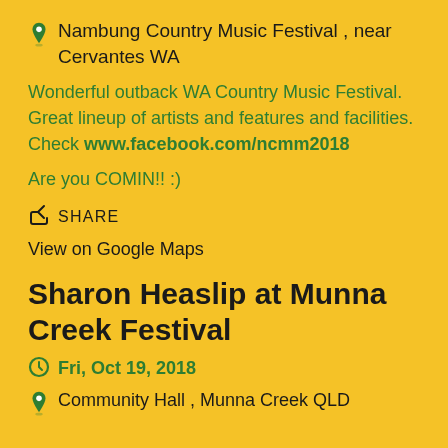Nambung Country Music Festival , near Cervantes WA
Wonderful outback WA Country Music Festival. Great lineup of artists and features and facilities. Check www.facebook.com/ncmm2018
Are you COMIN!! :)
SHARE
View on Google Maps
Sharon Heaslip at Munna Creek Festival
Fri, Oct 19, 2018
Community Hall , Munna Creek QLD